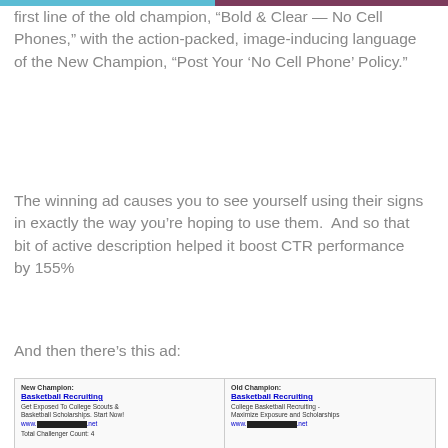first line of the old champion, “Bold & Clear — No Cell Phones,” with the action-packed, image-inducing language of the New Champion, “Post Your ‘No Cell Phone’ Policy.”
The winning ad causes you to see yourself using their signs in exactly the way you’re hoping to use them.  And so that bit of active description helped it boost CTR performance by 155%
And then there’s this ad:
[Figure (screenshot): Ad comparison screenshot showing New Champion and Old Champion ads for Basketball Recruiting. New Champion: 'Basketball Recruiting - Get Exposed To College Scouts & Basketball Scholarships. Start Now! www.[redacted].net'. Old Champion: 'Basketball Recruiting - College Basketball Recruiting - Maximize Exposure and Scholarships www.[redacted].net'. Total Challenger Count: 4]